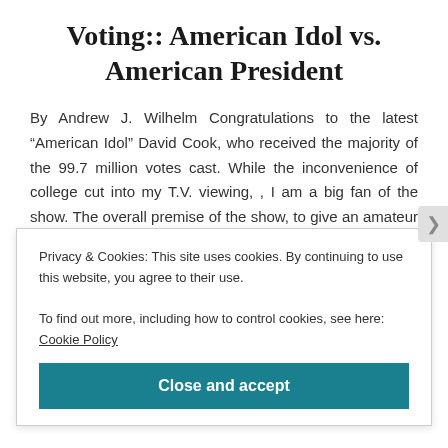Voting:: American Idol vs. American President
By Andrew J. Wilhelm Congratulations to the latest “American Idol” David Cook, who received the majority of the 99.7 million votes cast. While the inconvenience of college cut into my T.V. viewing, , I am a big fan of the show. The overall premise of the show, to give an amateur singer the chance of
Privacy & Cookies: This site uses cookies. By continuing to use this website, you agree to their use.
To find out more, including how to control cookies, see here: Cookie Policy
Close and accept